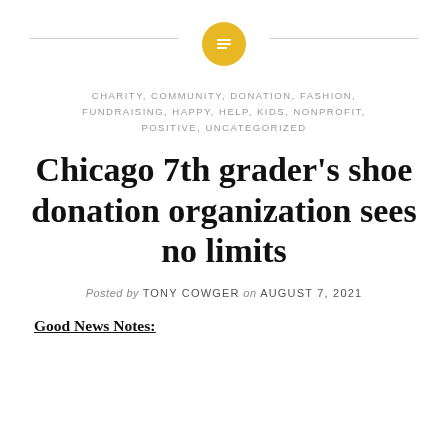[Figure (logo): Gold circle with a lines/text icon representing a blog logo, flanked by horizontal gray lines on left and right]
CHARITY, COMMUNITY, DONATION, FASHION, FUNDRAISING, HAPPY, HELP, KIDS, NONPROFIT, POSITIVE, UNCATEGORIZED
Chicago 7th grader's shoe donation organization sees no limits
Posted by TONY COWGER on AUGUST 7, 2021
Good News Notes: